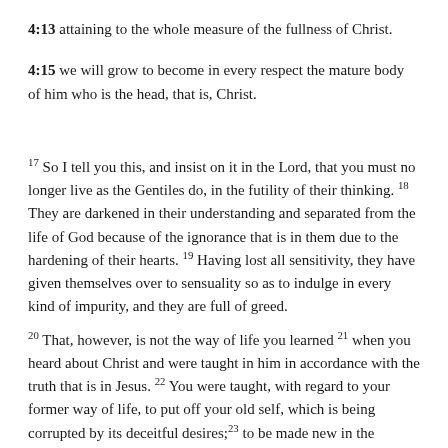4:13 attaining to the whole measure of the fullness of Christ.
4:15 we will grow to become in every respect the mature body of him who is the head, that is, Christ.
17 So I tell you this, and insist on it in the Lord, that you must no longer live as the Gentiles do, in the futility of their thinking. 18 They are darkened in their understanding and separated from the life of God because of the ignorance that is in them due to the hardening of their hearts. 19 Having lost all sensitivity, they have given themselves over to sensuality so as to indulge in every kind of impurity, and they are full of greed.
20 That, however, is not the way of life you learned 21 when you heard about Christ and were taught in him in accordance with the truth that is in Jesus. 22 You were taught, with regard to your former way of life, to put off your old self, which is being corrupted by its deceitful desires; 23 to be made new in the attitude of your